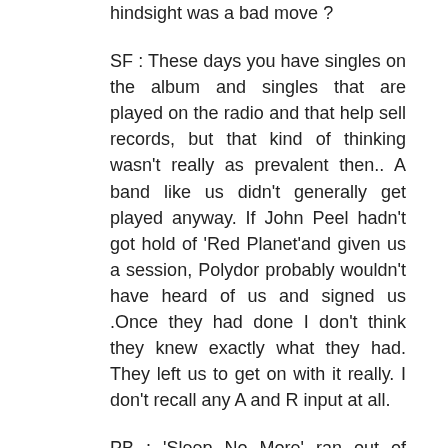hindsight was a bad move ?
SF : These days you have singles on the album and singles that are played on the radio and that help sell records, but that kind of thinking wasn't really as prevalent then.. A band like us didn't generally get played anyway. If John Peel hadn't got hold of 'Red Planet'and given us a session, Polydor probably wouldn't have heard of us and signed us .Once they had done I don't think they knew exactly what they had. They left us to get on with it really. I don't recall any A and R input at all.
PB : 'Sleep No More' ran out of copies in the shops as well, didn't it ?.
SF : Yeah ! It did. I don't think